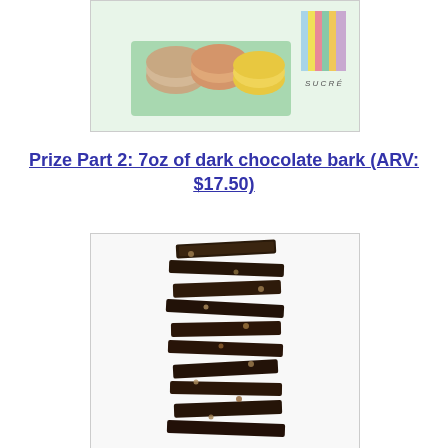[Figure (photo): A mint green box of colorful macarons with a Sucré branded striped box in the background]
Prize Part 2: 7oz of dark chocolate bark (ARV: $17.50)
[Figure (photo): A tall stacked tower of dark chocolate bark pieces with nuts and dried fruit on a white background]